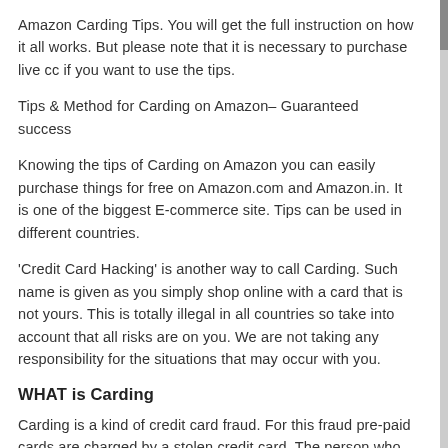Amazon Carding Tips. You will get the full instruction on how it all works. But please note that it is necessary to purchase live cc if you want to use the tips.
Tips & Method for Carding on Amazon– Guaranteed success
Knowing the tips of Carding on Amazon you can easily purchase things for free on Amazon.com and Amazon.in. It is one of the biggest E-commerce site. Tips can be used in different countries.
'Credit Card Hacking' is another way to call Carding. Such name is given as you simply shop online with a card that is not yours. This is totally illegal in all countries so take into account that all risks are on you. We are not taking any responsibility for the situations that may occur with you.
WHAT is Carding
Carding is a kind of credit card fraud. For this fraud pre-paid cards are charged by a stolen credit card. The person who has this stolen card buys branded gift cards. This cards later are sold to someone or other things are purchased with the gift-cards and then sold for cash.